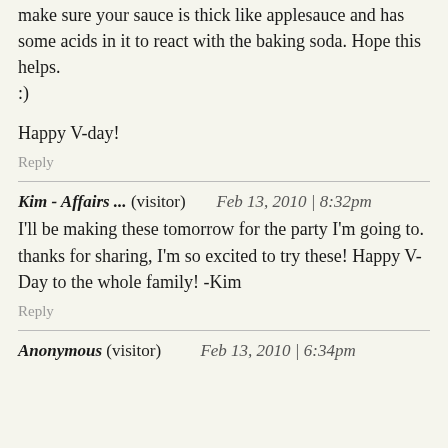make sure your sauce is thick like applesauce and has some acids in it to react with the baking soda. Hope this helps. :)
Happy V-day!
Reply
Kim - Affairs ... (visitor)   Feb 13, 2010 | 8:32pm
I'll be making these tomorrow for the party I'm going to. thanks for sharing, I'm so excited to try these! Happy V-Day to the whole family! -Kim
Reply
Anonymous (visitor)   Feb 13, 2010 | 6:34pm